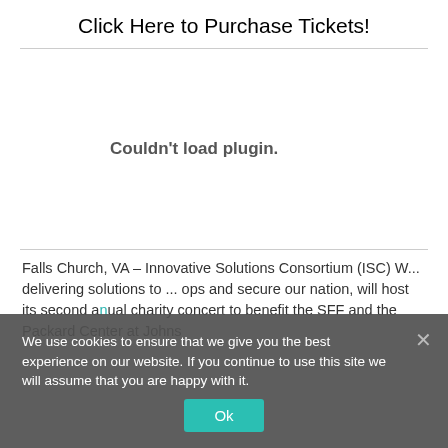Click Here to Purchase Tickets!
[Figure (other): Embedded plugin area showing 'Couldn't load plugin.' message]
Falls Church, VA – Innovative Solutions Consortium (ISC) W... delivering solutions to ... ops and secure our nation, will host its second annual charity concert to benefit the SFF and the Packard Center at Johns...
We use cookies to ensure that we give you the best experience on our website. If you continue to use this site we will assume that you are happy with it.